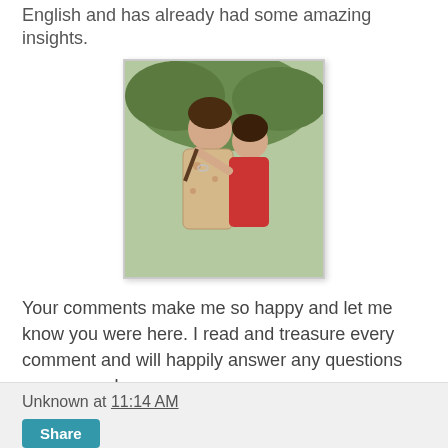English and has already had some amazing insights.
[Figure (photo): Photo of two young women/girls, one hugging the other from behind, outdoors with trees in background.]
Your comments make me so happy and let me know you were here. I read and treasure every comment and will happily answer any questions as soon as I can.
[Figure (other): Follow me on bloglovin' button]
Unknown at 11:14 AM
Share